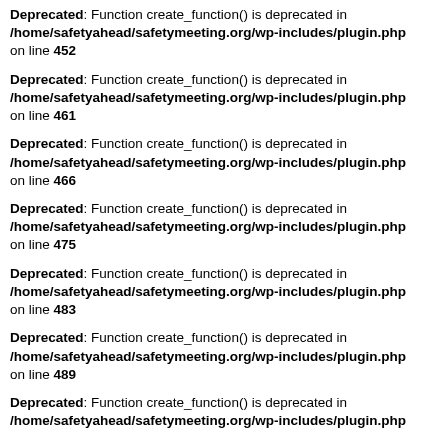Deprecated: Function create_function() is deprecated in /home/safetyahead/safetymeeting.org/wp-includes/plugin.php on line 452
Deprecated: Function create_function() is deprecated in /home/safetyahead/safetymeeting.org/wp-includes/plugin.php on line 461
Deprecated: Function create_function() is deprecated in /home/safetyahead/safetymeeting.org/wp-includes/plugin.php on line 466
Deprecated: Function create_function() is deprecated in /home/safetyahead/safetymeeting.org/wp-includes/plugin.php on line 475
Deprecated: Function create_function() is deprecated in /home/safetyahead/safetymeeting.org/wp-includes/plugin.php on line 483
Deprecated: Function create_function() is deprecated in /home/safetyahead/safetymeeting.org/wp-includes/plugin.php on line 489
Deprecated: Function create_function() is deprecated in /home/safetyahead/safetymeeting.org/wp-includes/plugin.php on line ...